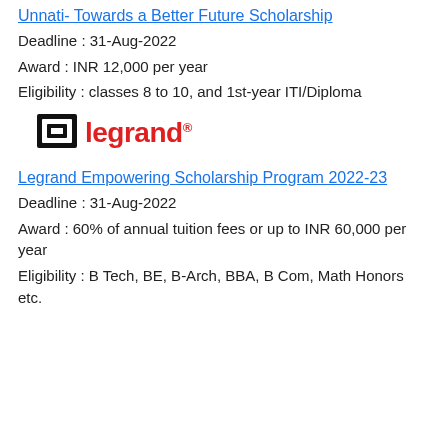Unnati- Towards a Better Future Scholarship
Deadline : 31-Aug-2022
Award : INR 12,000 per year
Eligibility : classes 8 to 10, and 1st-year ITI/Diploma
[Figure (logo): Legrand logo with black icon and red text reading 'legrand' with registered trademark symbol]
Legrand Empowering Scholarship Program 2022-23
Deadline : 31-Aug-2022
Award : 60% of annual tuition fees or up to INR 60,000 per year
Eligibility : B Tech, BE, B-Arch, BBA, B Com, Math Honors etc.